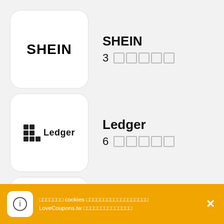SHEIN 3 □□□□□
Ledger 6 □□□□□
Apple Music 4 □□□□□
Nike 2 □□□□□
□□□□□□□ cookies □□□□□□□□□□□□□□□□□□ LoveCoupons.tw □□□□□□□□□□□□□□